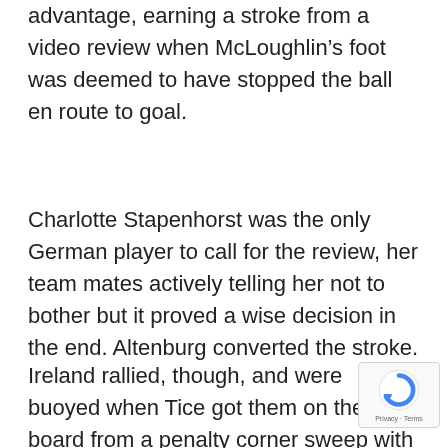advantage, earning a stroke from a video review when McLoughlin's foot was deemed to have stopped the ball en route to goal.
Charlotte Stapenhorst was the only German player to call for the review, her team mates actively telling her not to bother but it proved a wise decision in the end. Altenburg converted the stroke.
Ireland rallied, though, and were buoyed when Tice got them on the board from a penalty corner sweep with 18 minutes to go. It set up a rousing closing quarter in which Sarah Hawkshaw's mazy run, a Malseed snap-shot and a series of penalty corners
[Figure (logo): reCAPTCHA badge with Privacy - Terms text]